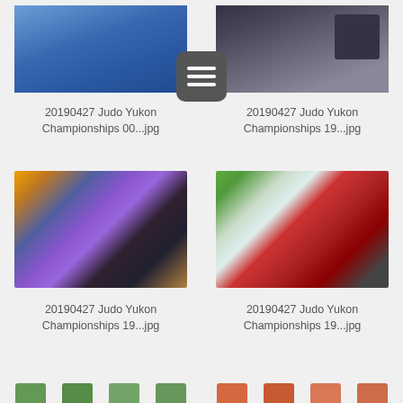[Figure (photo): Partial photo of judo championship event, top portion visible - appears to show blue mat area]
[Figure (photo): Partial photo of judo championship event, top portion visible - dark background with luggage/equipment]
20190427 Judo Yukon Championships 00...jpg
20190427 Judo Yukon Championships 19...jpg
[Figure (photo): Group photo at Judo Yukon Championships showing four people including someone in RCMP red serge uniform, in front of a banner backdrop with colorful decor]
[Figure (photo): Photo at Judo Yukon Championships showing three people including a child in judo gi with blue belt and medal, adult in black shirt, and person in RCMP red serge uniform, in front of TNI banner]
20190427 Judo Yukon Championships 19...jpg
20190427 Judo Yukon Championships 19...jpg
[Figure (photo): Bottom strip showing small thumbnail icons, left half shows green/teal colored thumbnail icons, right half shows orange/red colored thumbnail icons]